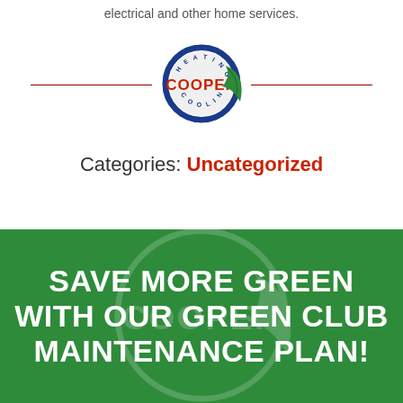electrical and other home services.
[Figure (logo): Cooper Heating & Cooling logo — circular badge with red COOPER text and green swoosh leaf]
Categories: Uncategorized
[Figure (infographic): Green background banner with large white bold text: SAVE MORE GREEN WITH OUR GREEN CLUB MAINTENANCE PLAN!]